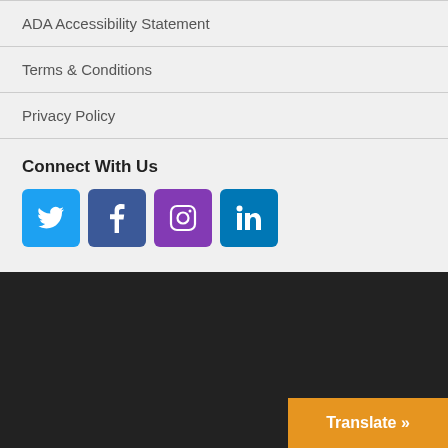ADA Accessibility Statement
Terms & Conditions
Privacy Policy
Connect With Us
[Figure (infographic): Row of four social media icon buttons: Twitter (blue bird), Facebook (blue f), Instagram (purple camera), LinkedIn (blue in)]
Translate »